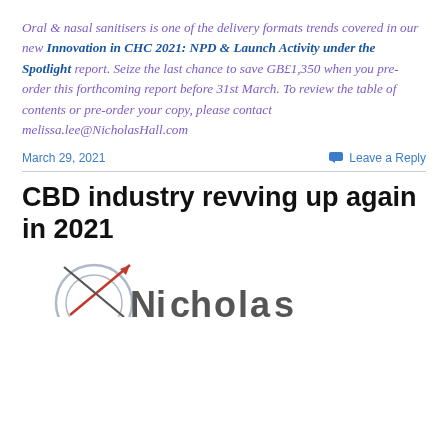Oral & nasal sanitisers is one of the delivery formats trends covered in our new Innovation in CHC 2021: NPD & Launch Activity under the Spotlight report. Seize the last chance to save GB£1,350 when you pre-order this forthcoming report before 31st March. To review the table of contents or pre-order your copy, please contact melissa.lee@NicholasHall.com
March 29, 2021
Leave a Reply
CBD industry revving up again in 2021
[Figure (logo): Nicholas Hall logo partially visible at bottom of page]